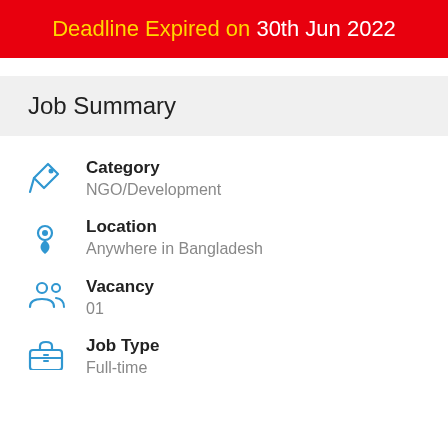Deadline Expired on 30th Jun 2022
Job Summary
Category
NGO/Development
Location
Anywhere in Bangladesh
Vacancy
01
Job Type
Full-time